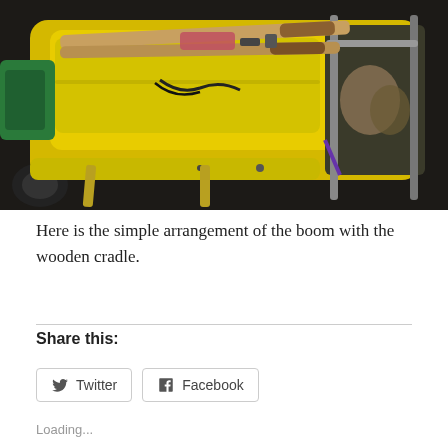[Figure (photo): A yellow inflatable raft or boat with wooden oars/boom resting on top, along with various tools and gear including what appears to be hammers, ropes, and bags. The boat is resting on a trailer or support structure in an indoor/garage setting.]
Here is the simple arrangement of the boom with the wooden cradle.
Share this:
Loading...